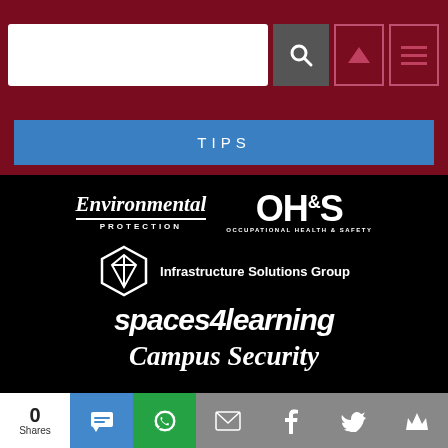[Figure (screenshot): Website header with dark red background, search box, search icon button, up-arrow nav button, and hamburger menu button]
TIPS
[Figure (logo): Environmental Protection logo — italic serif 'Environmental' over 'PROTECTION' in spaced caps, white on black]
[Figure (logo): OH&S Occupational Health & Safety logo — large white bold text on black]
[Figure (logo): Infrastructure Solutions Group logo with geometric hexagonal icon and text]
[Figure (logo): spaces4learning logo in large bold italic white text on black]
[Figure (logo): Campus Security logo in large bold italic white text on black]
0 Shares